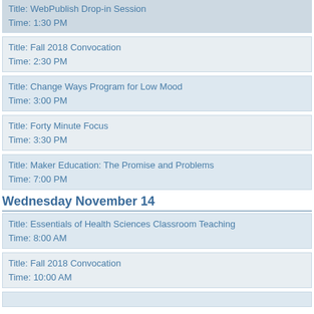Title: WebPublish Drop-in Session
Time: 1:30 PM
Title: Fall 2018 Convocation
Time: 2:30 PM
Title: Change Ways Program for Low Mood
Time: 3:00 PM
Title: Forty Minute Focus
Time: 3:30 PM
Title: Maker Education: The Promise and Problems
Time: 7:00 PM
Wednesday November 14
Title: Essentials of Health Sciences Classroom Teaching
Time: 8:00 AM
Title: Fall 2018 Convocation
Time: 10:00 AM